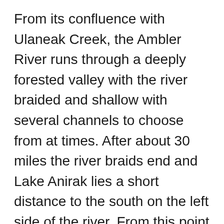From its confluence with Ulaneak Creek, the Ambler River runs through a deeply forested valley with the river braided and shallow with several channels to choose from at times. After about 30 miles the river braids end and Lake Anirak lies a short distance to the south on the left side of the river. From this point on the river is a single deep channel and for 35 miles it moves along at a slow pace. The vista opens up and numerous lakes fill the wide valley. Soon the Redstone River will enter from river right and you are within 7 or 8 miles of the take out in Ambler. Stay right as you approach the big Kobuk River and look for the boat landing along the right bank of the Kobuk River.